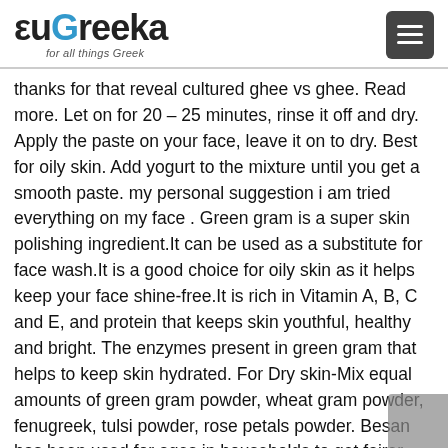euGreeka for all things Greek
thanks for that reveal cultured ghee vs ghee. Read more. Let on for 20 – 25 minutes, rinse it off and dry. Apply the paste on your face, leave it on to dry. Best for oily skin. Add yogurt to the mixture until you get a smooth paste. my personal suggestion i am tried everything on my face . Green gram is a super skin polishing ingredient.It can be used as a substitute for face wash.It is a good choice for oily skin as it helps keep your face shine-free.It is rich in Vitamin A, B, C and E, and protein that keeps skin youthful, healthy and bright. The enzymes present in green gram that helps to keep skin hydrated. For Dry skin-Mix equal amounts of green gram powder, wheat gram powder, fenugreek, tulsi powder, rose petals powder. Besan has been used for ages in households to get fairer skin. Nothing helped my skin better than besan and green gram flour.. … Next the skin is the main thing. Green gram powder is something I used for my daughter till she was almost 8 months old as my Mom insisted on using only natural stuff